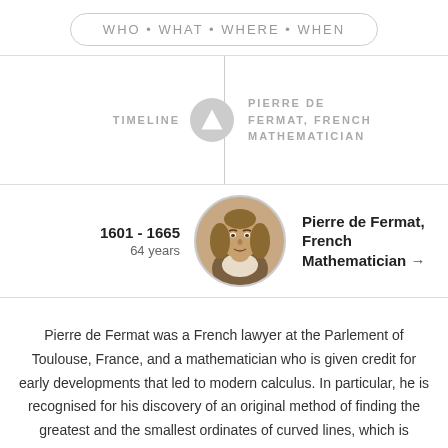WHO • WHAT • WHERE • WHEN
TIMELINE
PIERRE DE FERMAT, FRENCH MATHEMATICIAN
1601 - 1665
64 years
[Figure (photo): Portrait of Pierre de Fermat, French mathematician]
Pierre de Fermat, French Mathematician →
Pierre de Fermat was a French lawyer at the Parlement of Toulouse, France, and a mathematician who is given credit for early developments that led to modern calculus. In particular, he is recognised for his discovery of an original method of finding the greatest and the smallest ordinates of curved lines, which is analogous to that of the then unknown differential calculus, as well as his research into the theory of numbers. He also made notable contributions to